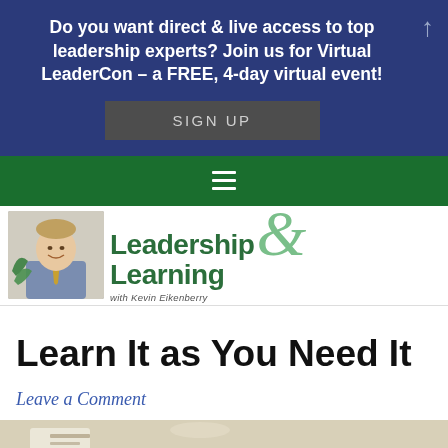Do you want direct & live access to top leadership experts? Join us for Virtual LeaderCon – a FREE, 4-day virtual event!
SIGN UP
[Figure (logo): Leadership & Learning with Kevin Eikenberry logo with photo of Kevin Eikenberry]
Learn It as You Need It
Leave a Comment
[Figure (photo): Partial photo at bottom of page, appears to show hands or documents]